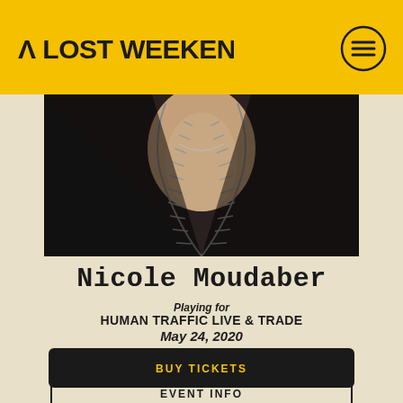A LOST WEEKEND
[Figure (photo): Close-up photo of a person wearing a black zip-up jacket, showing neck and upper chest area with zipper partially open]
Nicole Moudaber
Playing for
HUMAN TRAFFIC LIVE & TRADE
May 24, 2020
BUY TICKETS
EVENT INFO